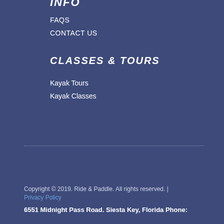INFO
FAQS
CONTACT US
CLASSES & TOURS
Kayak Tours
Kayak Classes
Copyright © 2019. Ride & Paddle. All rights reserved. | Privacy Policy
6551 Midnight Pass Road. Siesta Key, Florida Phone: